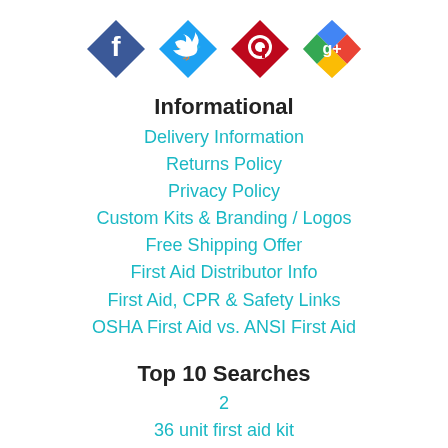[Figure (logo): Social media icons: Facebook (blue diamond), Twitter (light blue diamond), Pinterest (red diamond), Google+ (multi-color diamond)]
Informational
Delivery Information
Returns Policy
Privacy Policy
Custom Kits & Branding / Logos
Free Shipping Offer
First Aid Distributor Info
First Aid, CPR & Safety Links
OSHA First Aid vs. ANSI First Aid
Top 10 Searches
2
36 unit first aid kit
bag with oxygen
hand sanitizer
kits under 2 dollars in bulk
Sports First Aid
alcohol